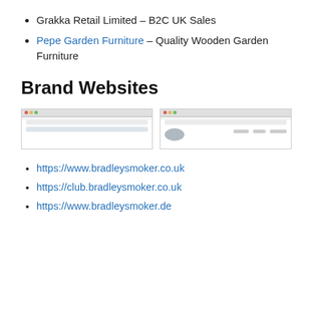Grakka Retail Limited – B2C UK Sales
Pepe Garden Furniture – Quality Wooden Garden Furniture
Brand Websites
[Figure (screenshot): Two browser window screenshots side by side showing brand websites]
https://www.bradleysmoker.co.uk
https://club.bradleysmoker.co.uk
https://www.bradleysmoker.de